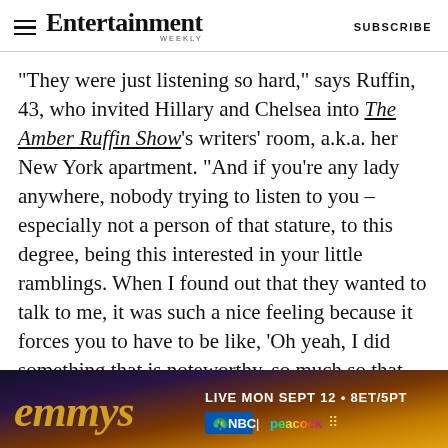Entertainment Weekly  SUBSCRIBE
"They were just listening so hard," says Ruffin, 43, who invited Hillary and Chelsea into The Amber Ruffin Show's writers' room, a.k.a. her New York apartment. "And if you're any lady anywhere, nobody trying to listen to you – especially not a person of that stature, to this degree, being this interested in your little ramblings. When I found out that they wanted to talk to me, it was such a nice feeling because it forces you to have to be like, 'Oh yeah, I did something that is noteworthy, so much so that these two people, both of whom I consider out of my league in every way, noticed.'
[Figure (infographic): Emmy Awards advertisement banner: emmys logo in gold italic script, text LIVE MON SEPT 12 • 8ET/5PT, NBC and peacock logos]